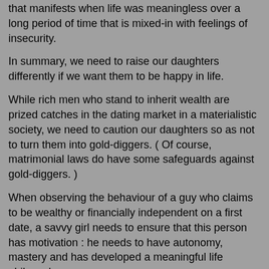that manifests when life was meaningless over a long period of time that is mixed-in with feelings of insecurity.
In summary, we need to raise our daughters differently if we want them to be happy in life.
While rich men who stand to inherit wealth are prized catches in the dating market in a materialistic society, we need to caution our daughters so as not to turn them into gold-diggers. ( Of course, matrimonial laws do have some safeguards against gold-diggers. )
When observing the behaviour of a guy who claims to be wealthy or financially independent on a first date, a savvy girl needs to ensure that this person has motivation : he needs to have autonomy, mastery and has developed a meaningful life philosophy.
This means steering the discussion towards the man's ideals, ambitions and how he sees himself in the grand scheme of things on a first date.
If the man can only be about his wealth, the dating process is